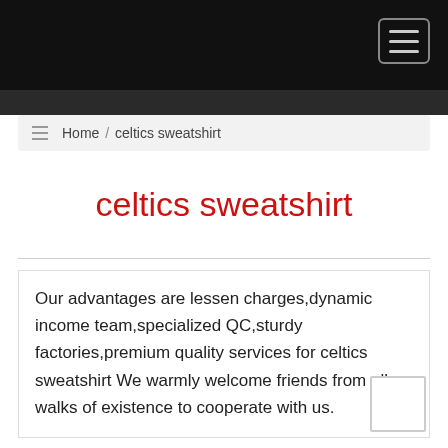Home / celtics sweatshirt
celtics sweatshirt
Our advantages are lessen charges,dynamic income team,specialized QC,sturdy factories,premium quality services for celtics sweatshirt We warmly welcome friends from all walks of existence to cooperate with us.